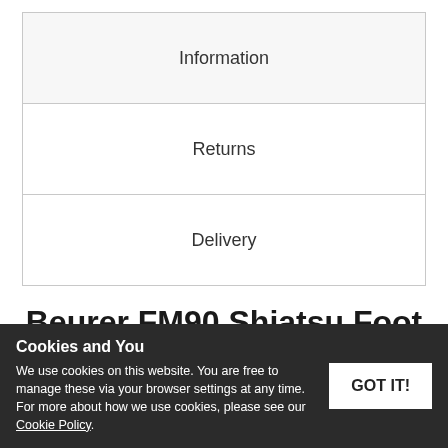Information
Returns
Delivery
Beurer FM90 Shiatsu Foot Massager
Getting home at night, nothing feels...
Beurer FM90
Shiatsu Foot Massager allows you to
Cookies and You
We use cookies on this website. You are free to manage these via your browser settings at any time. For more about how we use cookies, please see our Cookie Policy.